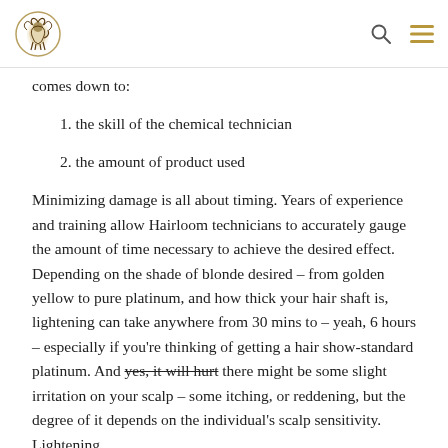[Logo: Hairloom] [Search icon] [Menu icon]
comes down to:
1. the skill of the chemical technician
2. the amount of product used
Minimizing damage is all about timing. Years of experience and training allow Hairloom technicians to accurately gauge the amount of time necessary to achieve the desired effect. Depending on the shade of blonde desired – from golden yellow to pure platinum, and how thick your hair shaft is, lightening can take anywhere from 30 mins to – yeah, 6 hours – especially if you're thinking of getting a hair show-standard platinum. And yes, it will hurt there might be some slight irritation on your scalp – some itching, or reddening, but the degree of it depends on the individual's scalp sensitivity. Lightening